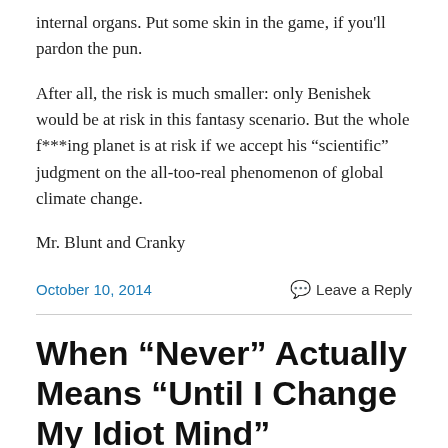internal organs. Put some skin in the game, if you'll pardon the pun.
After all, the risk is much smaller: only Benishek would be at risk in this fantasy scenario. But the whole f***ing planet is at risk if we accept his “scientific” judgment on the all-too-real phenomenon of global climate change.
Mr. Blunt and Cranky
October 10, 2014
Leave a Reply
When “Never” Actually Means “Until I Change My Idiot Mind”
Rep. Andy Gipson (R-Sphincterville) recently said, via